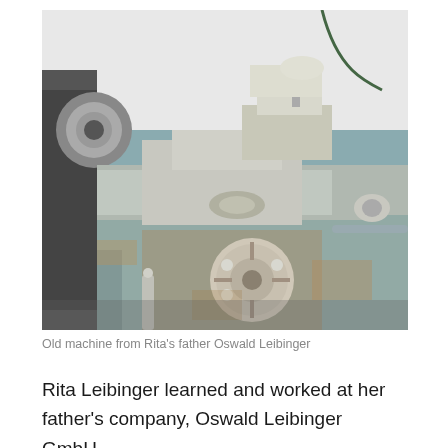[Figure (photo): Close-up photograph of an old metal lathe machine with worn blue-green paint, showing a chuck, tool post, cross-slide, and hand wheel with ball handles. The machine appears aged with rust and patina.]
Old machine from Rita's father Oswald Leibinger
Rita Leibinger learned and worked at her father's company, Oswald Leibinger GmbH,